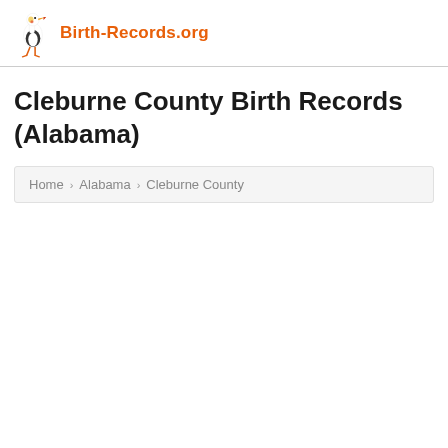Birth-Records.org
Cleburne County Birth Records (Alabama)
Home > Alabama > Cleburne County